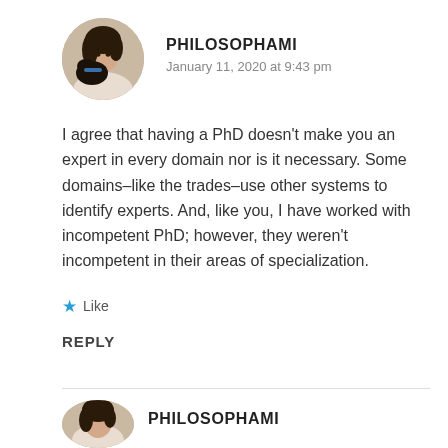[Figure (photo): Circular avatar photo of a person with dark hair holding or close to a dark-colored animal, possibly a cat or dog. Warm-toned indoor background.]
PHILOSOPHAMI
January 11, 2020 at 9:43 pm
I agree that having a PhD doesn’t make you an expert in every domain nor is it necessary. Some domains–like the trades–use other systems to identify experts. And, like you, I have worked with incompetent PhD; however, they weren’t incompetent in their areas of specialization.
★ Like
REPLY
[Figure (photo): Circular avatar photo partially visible at bottom, same person as above.]
PHILOSOPHAMI